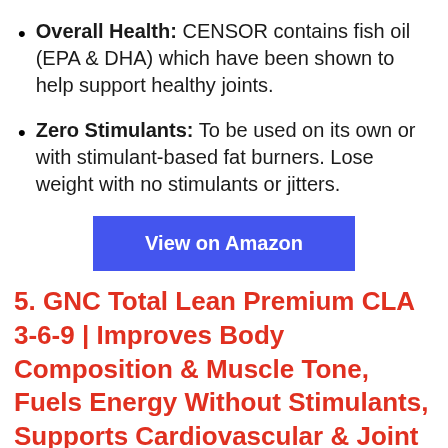Overall Health: CENSOR contains fish oil (EPA & DHA) which have been shown to help support healthy joints.
Zero Stimulants: To be used on its own or with stimulant-based fat burners. Lose weight with no stimulants or jitters.
View on Amazon
5. GNC Total Lean Premium CLA 3-6-9 | Improves Body Composition & Muscle Tone, Fuels Energy Without Stimulants, Supports Cardiovascular & Joint Health...